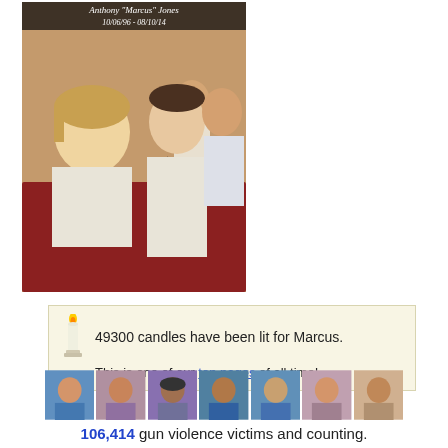[Figure (photo): A vintage photo of children at what appears to be a gathering or event. Text overlay at top reads 'Anthony Marcus Jones 10/06/96 - 08/10/14'. Several children are visible, seated, wearing light-colored shirts.]
49300 candles have been lit for Marcus.
This is one of our top pages of all time!
[Figure (photo): A row of seven portrait photos of gun violence victims.]
106,414 gun violence victims and counting.